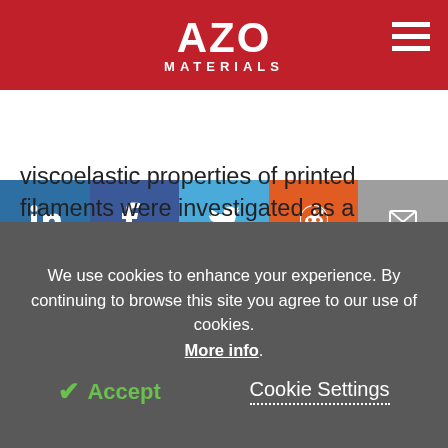AZO MATERIALS
viscoelastic properties of printed filaments were investigated as a function of frequency and temperature. The samples' complex viscosity, loss modulus (G"), storage modulus (G'), and crossover point were also examined.
[Figure (continuous-plot): Partial view of rheology charts showing data at 150°C (a) and 200°C (b) with y-axis starting around 10,000-100,000]
We use cookies to enhance your experience. By continuing to browse this site you agree to our use of cookies. More info.
Accept   Cookie Settings